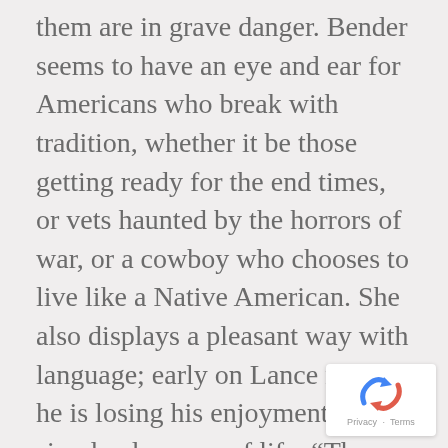them are in grave danger. Bender seems to have an eye and ear for Americans who break with tradition, whether it be those getting ready for the end times, or vets haunted by the horrors of war, or a cowboy who chooses to live like a Native American. She also displays a pleasant way with language; early on Lance realizes he is losing his enjoyment of the simple pleasures of life: “There is no music in the soul of a man who cannot see the freshness of an early morning after a rain, or a night sky beginning the day.”
[Figure (other): reCAPTCHA badge with the Google reCAPTCHA logo and 'Privacy - Terms' text]